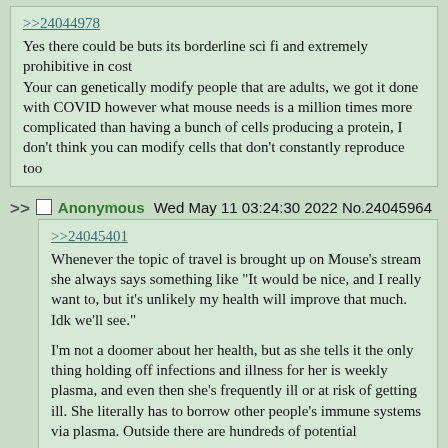>>24044978
Yes there could be buts its borderline sci fi and extremely prohibitive in cost
Your can genetically modify people that are adults, we got it done with COVID however what mouse needs is a million times more complicated than having a bunch of cells producing a protein, I don't think you can modify cells that don't constantly reproduce too
>> Anonymous Wed May 11 03:24:30 2022 No.24045964
>>24045401
Whenever the topic of travel is brought up on Mouse's stream she always says something like "It would be nice, and I really want to, but it's unlikely my health will improve that much. Idk we'll see."

I'm not a doomer about her health, but as she tells it the only thing holding off infections and illness for her is weekly plasma, and even then she's frequently ill or at risk of getting ill. She literally has to borrow other people's immune systems via plasma. Outside there are hundreds of potential